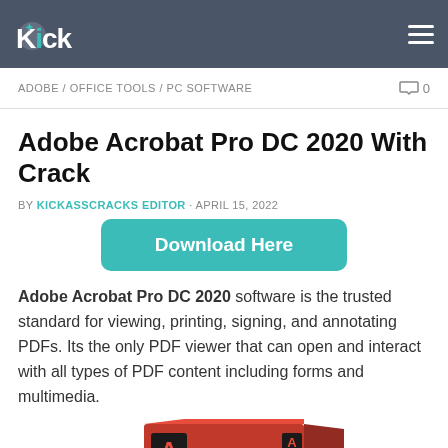Kick | ADOBE / OFFICE TOOLS / PC SOFTWARE
ADOBE / OFFICE TOOLS / PC SOFTWARE
Adobe Acrobat Pro DC 2020 With Crack
BY KICKASSCRACKS EDITOR · APRIL 15, 2022
[Figure (other): Download Here button (teal/green rounded rectangle)]
Adobe Acrobat Pro DC 2020 software is the trusted standard for viewing, printing, signing, and annotating PDFs. Its the only PDF viewer that can open and interact with all types of PDF content including forms and multimedia.
[Figure (photo): Adobe Acrobat Pro DC 2020 product box (red box with Adobe logo and product name)]